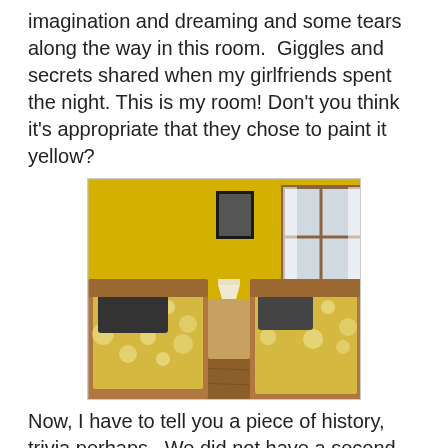imagination and dreaming and some tears along the way in this room.  Giggles and secrets shared when my girlfriends spent the night. This is my room! Don't you think it's appropriate that they chose to paint it yellow?
[Figure (photo): A bedroom with yellow walls featuring two twin beds with yellow floral/bubble-pattern bedding, dark throw pillows, a nightstand with a lamp between the beds, and a window with white curtains on the right. Wood floor visible.]
Now, I have to tell you a piece of history, trivia perhaps.  We did not have a second bathroom back in the day but there was a bathroom on the other side of my bedroom wall - the wall you can't see in this photo.  Back then, that bathroom couldn't be accessed from the house.  It was the 'church' bathroom and was only accessible from the driveway between our house and the church.  There was no plumbing in the church building in those days and since winters were harsh in that mountain town, a bathroom had been added to